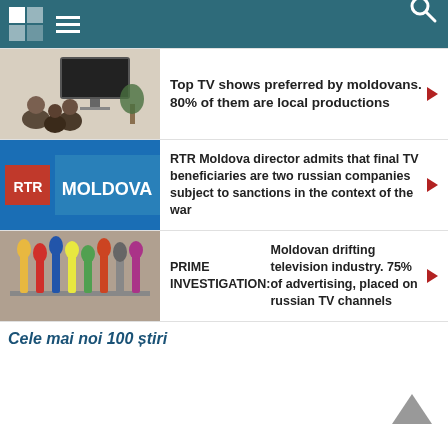News website header with logo, menu icon, and search icon
[Figure (photo): People watching TV from behind, TV screen visible on wall]
Top TV shows preferred by moldovans. 80% of them are local productions ▶
[Figure (photo): RTR Moldova logo on blue background]
RTR Moldova director admits that final TV beneficiaries are two russian companies subject to sanctions in the context of the war ▶
[Figure (photo): Multiple microphones at a press conference]
PRIME INVESTIGATION: Moldovan drifting television industry. 75% of advertising, placed on russian TV channels ▶
Cele mai noi 100 știri